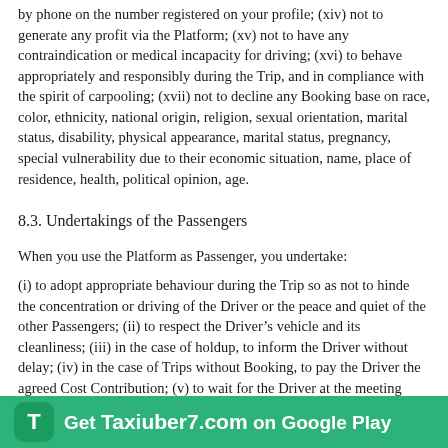by phone on the number registered on your profile; (xiv) not to generate any profit via the Platform; (xv) not to have any contraindication or medical incapacity for driving; (xvi) to behave appropriately and responsibly during the Trip, and in compliance with the spirit of carpooling; (xvii) not to decline any Booking based on race, color, ethnicity, national origin, religion, sexual orientation, marital status, disability, physical appearance, marital status, pregnancy, special vulnerability due to their economic situation, name, place of residence, health, political opinion, age.
8.3. Undertakings of the Passengers
When you use the Platform as Passenger, you undertake:
(i) to adopt appropriate behaviour during the Trip so as not to hinder the concentration or driving of the Driver or the peace and quiet of the other Passengers; (ii) to respect the Driver's vehicle and its cleanliness; (iii) in the case of holdup, to inform the Driver without delay; (iv) in the case of Trips without Booking, to pay the Driver the agreed Cost Contribution; (v) to wait for the Driver at the meeting place for at least 15 minutes beyond the agreed time; (vi) to communicate to Taxiuber7 , or any Driver who so asks, an identity card or any document evidencing your identity; (vii) not to carry during a Trip any item, goods, substance or animal that could hinder the driving and concentration of the Driver or the nature, possession or transport of which is contrary to the laws provisions in force; (viii)
[Figure (other): Taxiuber7 app promotional banner with green background, T logo icon, and text 'Get Taxiuber7.com on Google Play']